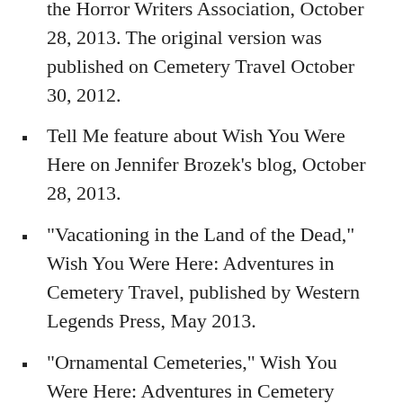Halloween Haunts blog series hosted by the Horror Writers Association, October 28, 2013. The original version was published on Cemetery Travel October 30, 2012.
Tell Me feature about Wish You Were Here on Jennifer Brozek’s blog, October 28, 2013.
“Vacationing in the Land of the Dead,” Wish You Were Here: Adventures in Cemetery Travel, published by Western Legends Press, May 2013.
“Ornamental Cemeteries,” Wish You Were Here: Adventures in Cemetery Travel, published by Western Legends Press, May 2013.
“Days of Infamy,” comparing visits to the Hiroshima Peace Park with the Arizona Memorial at Pearl Harbor, Wish